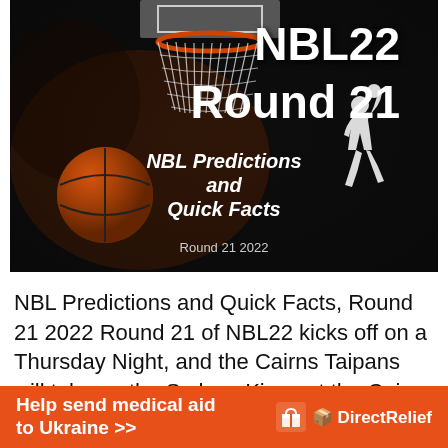[Figure (photo): Basketball hoop with net against dark background, orange basketball in lower left, white silhouette of basketball player jumping on right. Text overlay: 'NBL22 Round 21' in large bold white, 'NBL Predictions and Quick Facts' in bold italic white, 'Round 21 2022' in smaller white text below.]
NBL Predictions and Quick Facts, Round 21 2022 Round 21 of NBL22 kicks off on a Thursday Night, and the Cairns Taipans will take on the Sydney Kings at the Cairns
[Figure (infographic): Orange advertisement banner: 'Help send medical aid to Ukraine >>' with Direct Relief logo on the right.]